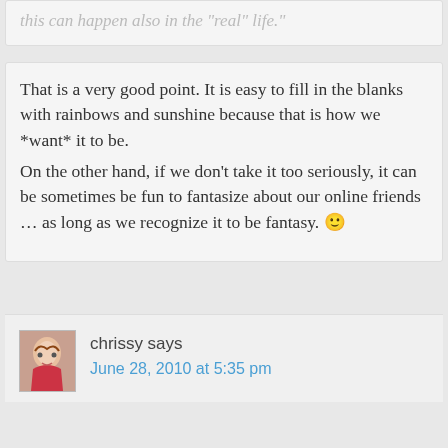this can happen also in the "real" life.
That is a very good point. It is easy to fill in the blanks with rainbows and sunshine because that is how we *want* it to be.
On the other hand, if we don't take it too seriously, it can be sometimes be fun to fantasize about our online friends … as long as we recognize it to be fantasy. 🙂
chrissy says
June 28, 2010 at 5:35 pm